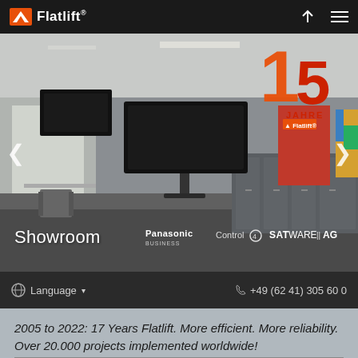Flatlift
[Figure (photo): Showroom interior of Flatlift with TV lifts, displays mounted on ceiling and walls, gray cabinetry, colorful artwork, and partner logos: Panasonic Business, Control4, SATWARE AG. A 15 Jahre Flatlift anniversary badge is in the top right corner.]
Showroom
Language   +49 (62 41) 305 60 0
2005 to 2022: 17 Years Flatlift. More efficient. More reliability. Over 20.000 projects implemented worldwide!